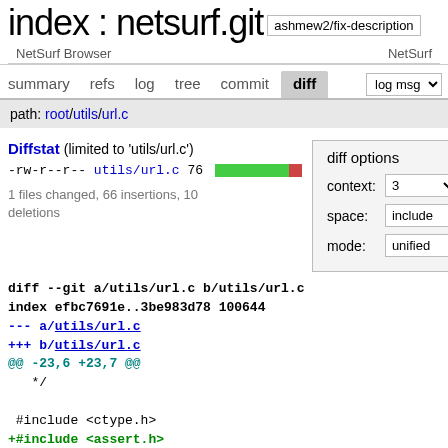index : netsurf.git  ashmew2/fix-description
NetSurf Browser   NetSurf
summary  refs  log  tree  commit  diff  log msg
path: root/utils/url.c
Diffstat (limited to 'utils/url.c')
-rw-r--r-- utils/url.c 76 [bar]
1 files changed, 66 insertions, 10 deletions
diff options
context: 3
space: include
mode: unified
diff --git a/utils/url.c b/utils/url.c
index efbc7691e..3be983d78 100644
--- a/utils/url.c
+++ b/utils/url.c
@@ -23,6 +23,7 @@
   */

 #include <ctype.h>
+#include <assert.h>
 -#include <stdlib.h>